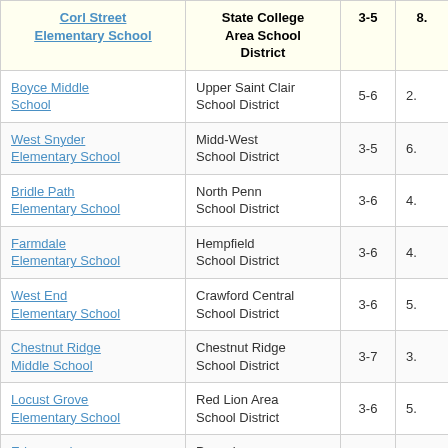| Corl Street Elementary School | State College Area School District | 3-5 | 8. |
| --- | --- | --- | --- |
| Boyce Middle School | Upper Saint Clair School District | 5-6 | 2. |
| West Snyder Elementary School | Midd-West School District | 3-5 | 6. |
| Bridle Path Elementary School | North Penn School District | 3-6 | 4. |
| Farmdale Elementary School | Hempfield School District | 3-6 | 4. |
| West End Elementary School | Crawford Central School District | 3-6 | 5. |
| Chestnut Ridge Middle School | Chestnut Ridge School District | 3-7 | 3. |
| Locust Grove Elementary School | Red Lion Area School District | 3-6 | 5. |
| Edgewood | Pennsbury |  |  |